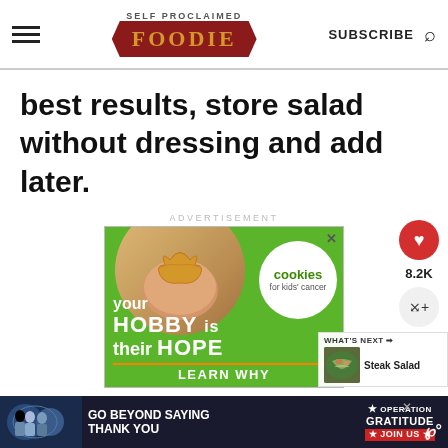SELF PROCLAIMED FOODIE — SUBSCRIBE
best results, store salad without dressing and add later.
ADVERTISEMENT
[Figure (infographic): Cookies for kids cancer advertisement. Green background with hands holding a heart-shaped cookie, white circle badge reading 'cookies for kids cancer', text 'your HOBBY is their HOPE' and 'LEARN WHY' at the bottom.]
[Figure (infographic): Bottom banner ad: Operation Gratitude — GO BEYOND SAYING THANK YOU, JOIN US]
[Figure (photo): What's Next thumbnail: Steak Salad]